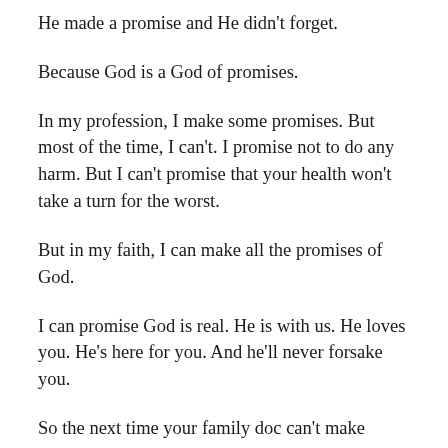He made a promise and He didn't forget.
Because God is a God of promises.
In my profession, I make some promises. But most of the time, I can't. I promise not to do any harm. But I can't promise that your health won't take a turn for the worst.
But in my faith, I can make all the promises of God.
I can promise God is real. He is with us. He loves you. He's here for you. And he'll never forsake you.
So the next time your family doc can't make promises, simply turn to the one who can. And he'll come through